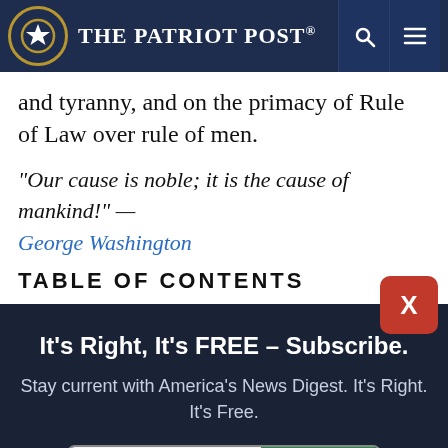The Patriot Post
and tyranny, and on the primacy of Rule of Law over rule of men.
“Our cause is noble; it is the cause of mankind!” — George Washington
TABLE OF CONTENTS
It’s Right, It’s FREE – Subscribe.
Stay current with America’s News Digest. It’s Right. It’s Free.
Email address | Subscribe
I’m Already Subscribed